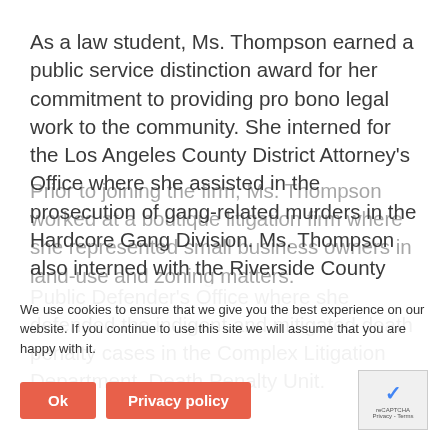As a law student, Ms. Thompson earned a public service distinction award for her commitment to providing pro bono legal work to the community. She interned for the Los Angeles County District Attorney's Office where she assisted in the prosecution of gang-related murders in the Hardcore Gang Division. Ms. Thompson also interned with the Riverside County Public Defender's Office where she defended the indigent and mitigated death penalty cases in the Complex Litigation Department, Death Penalty Unit.
Prior to joining the firm, Ms. Thompson worked at a boutique litigation firm where she represented small business owners in land-use and zoning matters.
We use cookies to ensure that we give you the best experience on our website. If you continue to use this site we will assume that you are happy with it.